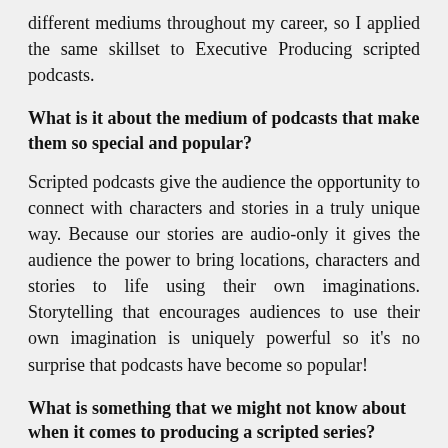different mediums throughout my career, so I applied the same skillset to Executive Producing scripted podcasts.
What is it about the medium of podcasts that make them so special and popular?
Scripted podcasts give the audience the opportunity to connect with characters and stories in a truly unique way. Because our stories are audio-only it gives the audience the power to bring locations, characters and stories to life using their own imaginations. Storytelling that encourages audiences to use their own imagination is uniquely powerful so it's no surprise that podcasts have become so popular!
What is something that we might not know about when it comes to producing a scripted series?
When evaluating a story for a scripted podcast, you have to think about how does this work in an audio-